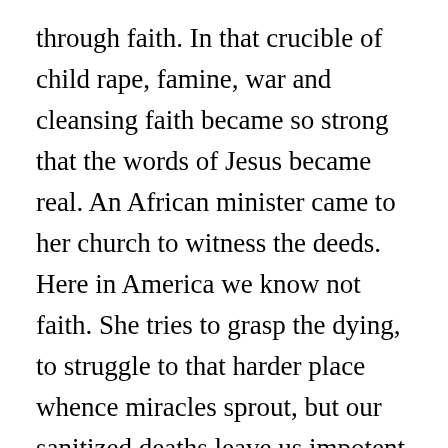through faith. In that crucible of child rape, famine, war and cleansing faith became so strong that the words of Jesus became real. An African minister came to her church to witness the deeds. Here in America we know not faith. She tries to grasp the dying, to struggle to that harder place whence miracles sprout, but our sanitized deaths leave us impotent.

In the unexplored terrain of distress miracles await. We have lost God in our excesses of survival, our surfeits of success. In such a plague she walks and ministers. Once, seeing me reading an academic paper for class, she cringed; false knowledge keeping the